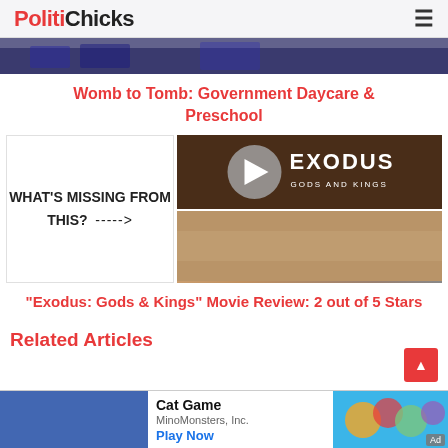PolitiChicks
[Figure (photo): Dark navy banner image strip at top of page]
Womb to Tomb: Government Daycare & Preschool
[Figure (screenshot): Split image: left panel with text 'WHAT'S MISSING FROM THIS? ----->' and right panel showing Exodus: Gods and Kings movie poster with play button overlay, and a lower image of a wooden surface]
"Exodus: Gods & Kings" Movie Review: 2 out of 5 Stars
Related Articles
[Figure (screenshot): Ad banner: Cat Game by MinoMonsters Inc. with Play Now button and game icon image]